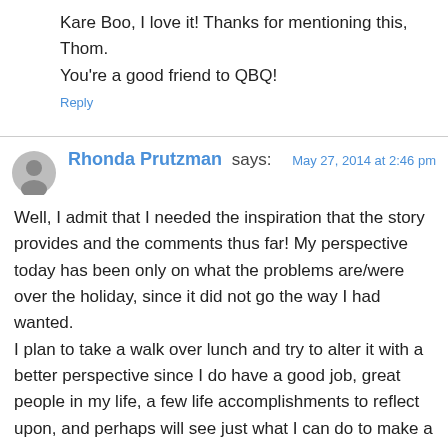Kare Boo, I love it! Thanks for mentioning this, Thom. You're a good friend to QBQ!
Reply
Rhonda Prutzman says:
May 27, 2014 at 2:46 pm
Well, I admit that I needed the inspiration that the story provides and the comments thus far! My perspective today has been only on what the problems are/were over the holiday, since it did not go the way I had wanted.
I plan to take a walk over lunch and try to alter it with a better perspective since I do have a good job, great people in my life, a few life accomplishments to reflect upon, and perhaps will see just what I can do to make a